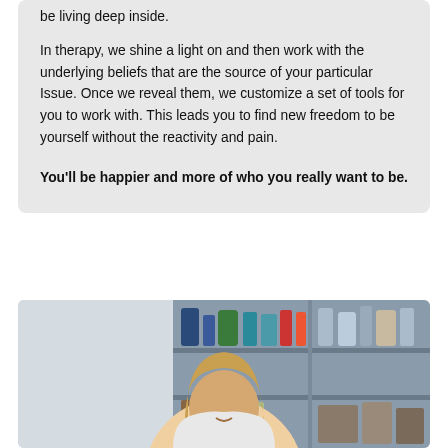be living deep inside.
In therapy, we shine a light on and then work with the underlying beliefs that are the source of your particular Issue. Once we reveal them, we customize a set of tools for you to work with. This leads you to find new freedom to be yourself without the reactivity and pain.
You'll be happier and more of who you really want to be.
[Figure (photo): A smiling woman with long blonde hair seated in front of a shelving unit containing various bottles and decorative items.]